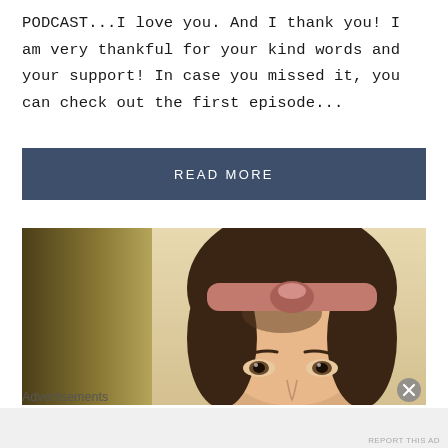PODCAST...I love you. And I thank you! I am very thankful for your kind words and your support! In case you missed it, you can check out the first episode...
READ MORE
[Figure (photo): Close-up photo of a young woman wearing a pink knotted headband, with brown hair, against a split background of dark olive/gold on the left and light beige/cream on the right.]
Advertisements